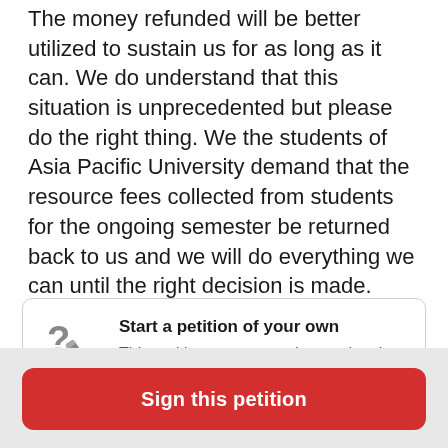The money refunded will be better utilized to sustain us for as long as it can. We do understand that this situation is unprecedented but please do the right thing. We the students of Asia Pacific University demand that the resource fees collected from students for the ongoing semester be returned back to us and we will do everything we can until the right decision is made.
Start a petition of your own
This petition starter stood up and took action. Will you do the same?
Sign this petition